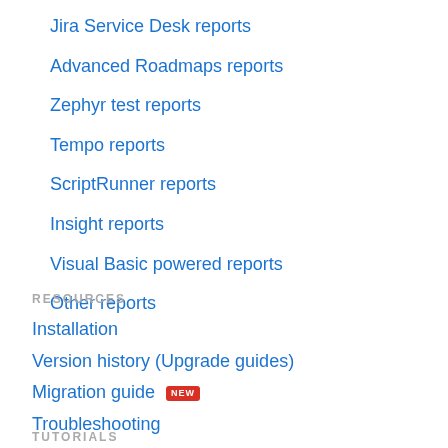Jira Service Desk reports
Advanced Roadmaps reports
Zephyr test reports
Tempo reports
ScriptRunner reports
Insight reports
Visual Basic powered reports
Other reports
RESOURCES
Installation
Version history (Upgrade guides)
Migration guide NEW
Troubleshooting
FAQ
TUTORIALS